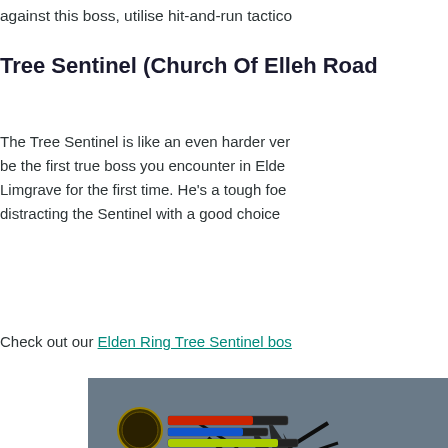against this boss, utilise hit-and-run tactico
Tree Sentinel (Church Of Elleh Road
The Tree Sentinel is like an even harder ver be the first true boss you encounter in Elde Limgrave for the first time. He's a tough foe distracting the Sentinel with a good choice
Check out our Elden Ring Tree Sentinel bos
[Figure (screenshot): Screenshot from Elden Ring showing the Tree Sentinel boss encounter with HUD elements visible including health and stamina bars, with dark atmospheric background showing twisted tree branches]